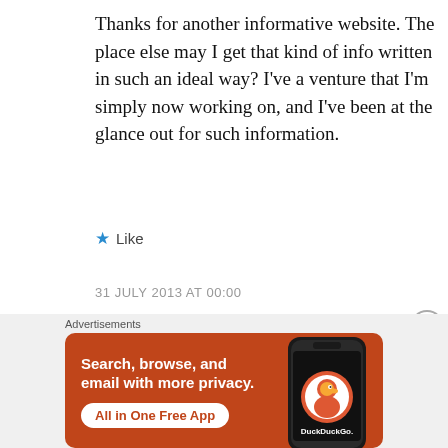Thanks for another informative website. The place else may I get that kind of info written in such an ideal way? I’ve a venture that I’m simply now working on, and I’ve been at the glance out for such information.
★ Like
31 JULY 2013 AT 00:00
Advertisements
[Figure (infographic): DuckDuckGo advertisement banner. Orange background with text: Search, browse, and email with more privacy. All in One Free App. Shows a smartphone with DuckDuckGo logo and brand name.]